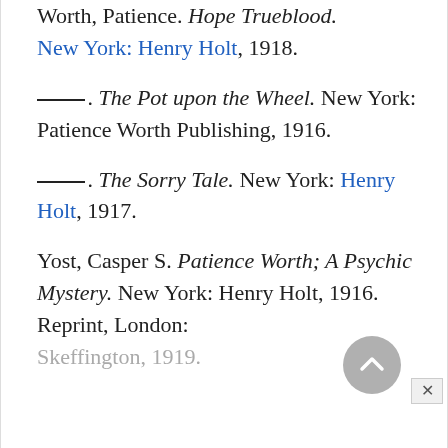Worth, Patience. Hope Trueblood. New York: Henry Holt, 1918.
———. The Pot upon the Wheel. New York: Patience Worth Publishing, 1916.
———. The Sorry Tale. New York: Henry Holt, 1917.
Yost, Casper S. Patience Worth; A Psychic Mystery. New York: Henry Holt, 1916. Reprint, London: Skeffington, 1919.